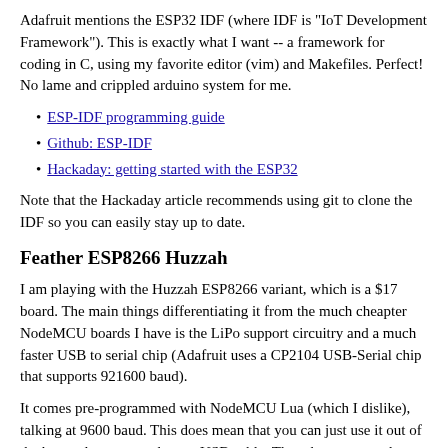Adafruit mentions the ESP32 IDF (where IDF is "IoT Development Framework"). This is exactly what I want -- a framework for coding in C, using my favorite editor (vim) and Makefiles. Perfect! No lame and crippled arduino system for me.
ESP-IDF programming guide
Github: ESP-IDF
Hackaday: getting started with the ESP32
Note that the Hackaday article recommends using git to clone the IDF so you can easily stay up to date.
Feather ESP8266 Huzzah
I am playing with the Huzzah ESP8266 variant, which is a $17 board. The main things differentiating it from the much cheapter NodeMCU boards I have is the LiPo support circuitry and a much faster USB to serial chip (Adafruit uses a CP2104 USB-Serial chip that supports 921600 baud).
It comes pre-programmed with NodeMCU Lua (which I dislike), talking at 9600 baud. This does mean that you can just use it out of the box as long as you have a USB cable. The other suggested option is to use the Arduino GUI, loading the ESP8266 board package into arduino via the "board manager". Downloading from